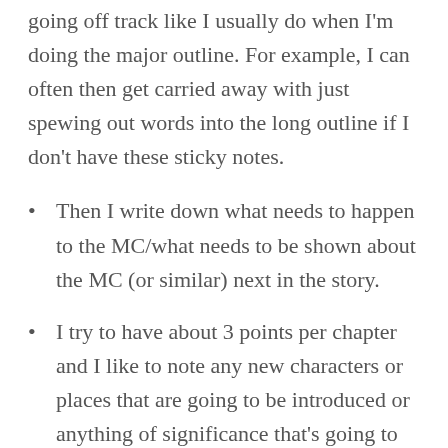going off track like I usually do when I'm doing the major outline. For example, I can often then get carried away with just spewing out words into the long outline if I don't have these sticky notes.
Then I write down what needs to happen to the MC/what needs to be shown about the MC (or similar) next in the story.
I try to have about 3 points per chapter and I like to note any new characters or places that are going to be introduced or anything of significance that's going to happen in that chapter as well as.  Usually, these points are kept to two lines.